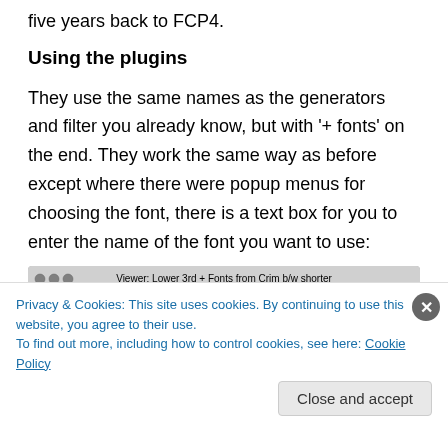five years back to FCP4.
Using the plugins
They use the same names as the generators and filter you already know, but with '+ fonts' on the end. They work the same way as before except where there were popup menus for choosing the font, there is a text box for you to enter the name of the font you want to use:
[Figure (screenshot): Screenshot of a video viewer interface titled 'Viewer: Lower 3rd + Fonts from Crim b/w shorter' with tabs: Video, Controls, Filters, Motion, and columns: Name, Parameters, Nav]
Privacy & Cookies: This site uses cookies. By continuing to use this website, you agree to their use.
To find out more, including how to control cookies, see here: Cookie Policy
Close and accept